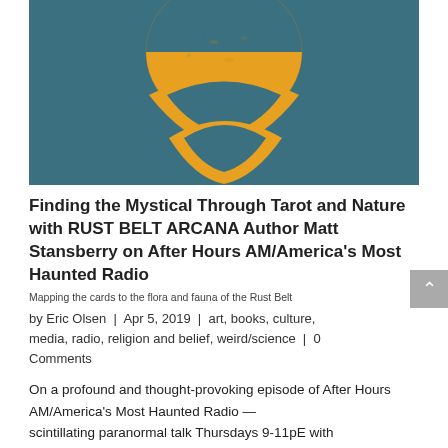[Figure (illustration): Teal/dark cyan background with three orange moon phases — a full/half moon at top and two crescent moons below, stacked vertically in descending size, creating a mystical decorative image.]
Finding the Mystical Through Tarot and Nature with RUST BELT ARCANA Author Matt Stansberry on After Hours AM/America's Most Haunted Radio
Mapping the cards to the flora and fauna of the Rust Belt
by Eric Olsen | Apr 5, 2019 | art, books, culture, media, radio, religion and belief, weird/science | 0 Comments
On a profound and thought-provoking episode of After Hours AM/America's Most Haunted Radio — scintillating paranormal talk Thursdays 9-11pE with